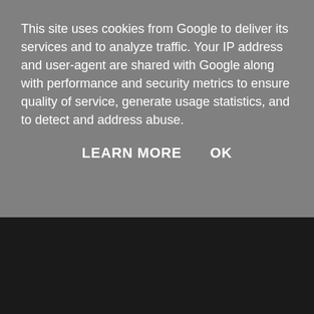This site uses cookies from Google to deliver its services and to analyze traffic. Your IP address and user-agent are shared with Google along with performance and security metrics to ensure quality of service, generate usage statistics, and to detect and address abuse.
LEARN MORE    OK
better part of me to the extents my boss at work noticed that i was down emotionally, i told him all i was going through he introduced me to this powerful Spell caster called Lord Masuka who helped her in the past to get her husband back, she gave me his email lordmasukaspelltemple@hotmail.com and whatsapp number +1(234)-307-0752 when i got home that evening i contacted him and he assured me that my family will come back to me again, i was still full of doubts but to my biggest surprise after doing all he asked me to do my wife who had refused to even speak with me on phone called and starting begging for forgiveness and now we are one happy family